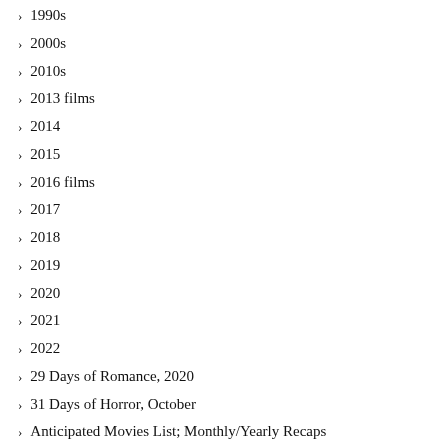1990s
2000s
2010s
2013 films
2014
2015
2016 films
2017
2018
2019
2020
2021
2022
29 Days of Romance, 2020
31 Days of Horror, October
Anticipated Movies List; Monthly/Yearly Recaps
Blood in the Snow Film Festival
Blu-Ray
Box Office Predictions and Results
Celebrity Birthdays
Contest
Editorial